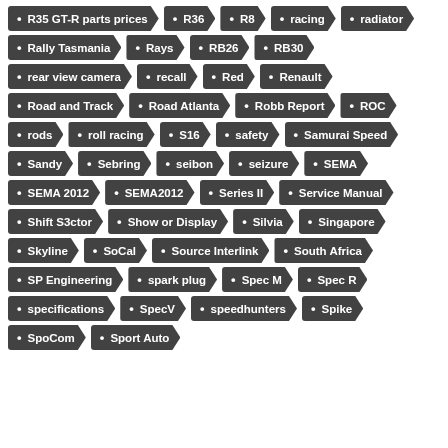R35 GT-R parts prices
R36
R8
racing
radiator
Rally Tasmania
Rays
RB26
RB30
rear view camera
recall
Red
Renault
Road and Track
Road Atlanta
Robb Report
ROC
rods
roll racing
S16
safety
Samurai Speed
Sandy
Sebring
seibon
seizure
SEMA
SEMA 2012
SEMA2012
Series II
Service Manual
Shift S3ctor
Show or Display
Silvia
Singapore
Skyline
SoCal
Source Interlink
South Africa
SP Engineering
spark plug
Spec M
Spec R
specifications
SpecV
speedhunters
Spike
SpoCom
Sport Auto